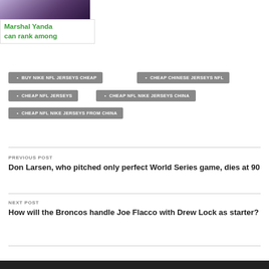[Figure (photo): Photo of a football player in purple Ravens uniform and helmet, cropped at top]
Marshal Yanda can rank among
BUY NIKE NFL JERSEYS CHEAP
CHEAP CHINESE JERSEYS NFL
CHEAP NFL JERSEYS
CHEAP NFL NIKE JERSEYS CHINA
CHEAP NFL NIKE JERSEYS FROM CHINA
PREVIOUS POST
Don Larsen, who pitched only perfect World Series game, dies at 90
NEXT POST
How will the Broncos handle Joe Flacco with Drew Lock as starter?